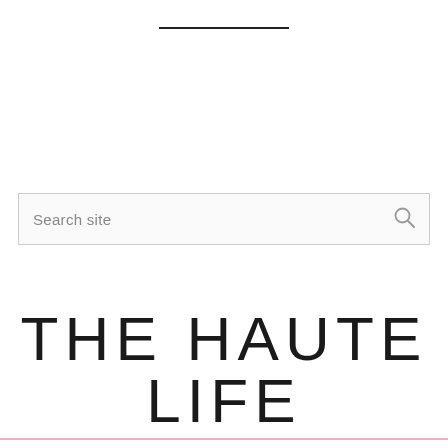[Figure (other): A short horizontal black decorative rule/divider line centered near the top of the page]
Search site
THE HAUTE LIFE